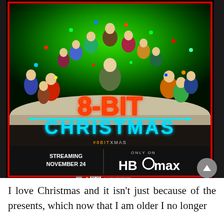[Figure (illustration): Movie poster for '8-BIT CHRISTMAS'. Green background with group of children and one adult arranged in a Christmas-tree formation. Neon orange text '8-BIT' and cyan text 'CHRISTMAS'. Hashtag #8BITXMAS. Bottom section shows 'STREAMING NOVEMBER 24' and 'ONLY ON HBO max' logo. Production company logos at bottom.]
I love Christmas and it isn't just because of the presents, which now that I am older I no longer